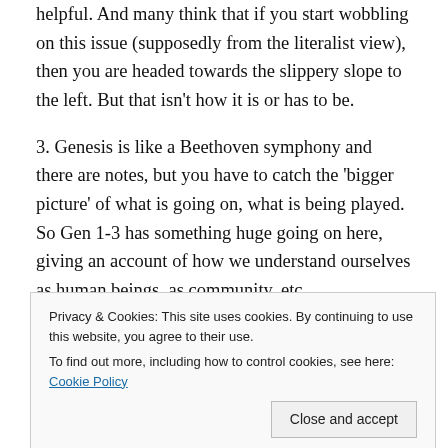helpful. And many think that if you start wobbling on this issue (supposedly from the literalist view), then you are headed towards the slippery slope to the left. But that isn't how it is or has to be.
3. Genesis is like a Beethoven symphony and there are notes, but you have to catch the 'bigger picture' of what is going on, what is being played. So Gen 1-3 has something huge going on here, giving an account of how we understand ourselves as human beings, as community, etc.
Privacy & Cookies: This site uses cookies. By continuing to use this website, you agree to their use. To find out more, including how to control cookies, see here: Cookie Policy
think of other words to use in this discussion/debate